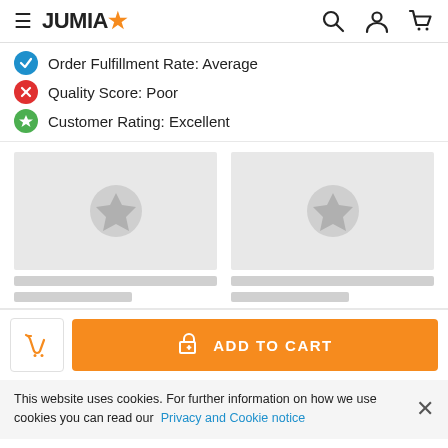JUMIA
Order Fulfillment Rate: Average
Quality Score: Poor
Customer Rating: Excellent
[Figure (illustration): Two product image placeholders with grey background and star icon]
ADD TO CART
This website uses cookies. For further information on how we use cookies you can read our Privacy and Cookie notice